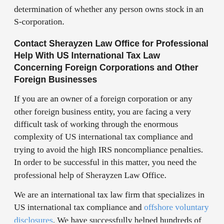determination of whether any person owns stock in an S-corporation.
Contact Sherayzen Law Office for Professional Help With US International Tax Law Concerning Foreign Corporations and Other Foreign Businesses
If you are an owner of a foreign corporation or any other foreign business entity, you are facing a very difficult task of working through the enormous complexity of US international tax compliance and trying to avoid the high IRS noncompliance penalties. In order to be successful in this matter, you need the professional help of Sherayzen Law Office.
We are an international tax law firm that specializes in US international tax compliance and offshore voluntary disclosures. We have successfully helped hundreds of US taxpayers worldwide with this issue, and we can help